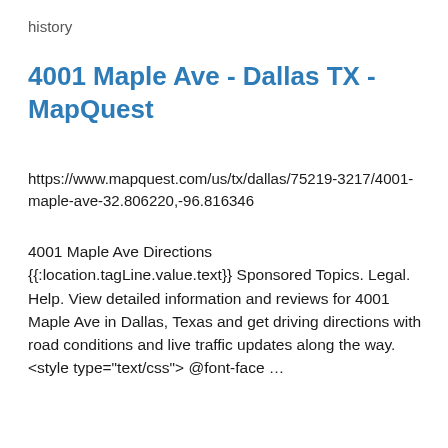history
4001 Maple Ave - Dallas TX - MapQuest
https://www.mapquest.com/us/tx/dallas/75219-3217/4001-maple-ave-32.806220,-96.816346
4001 Maple Ave Directions {{:location.tagLine.value.text}} Sponsored Topics. Legal. Help. View detailed information and reviews for 4001 Maple Ave in Dallas, Texas and get driving directions with road conditions and live traffic updates along the way. <style type="text/css"> @font-face …